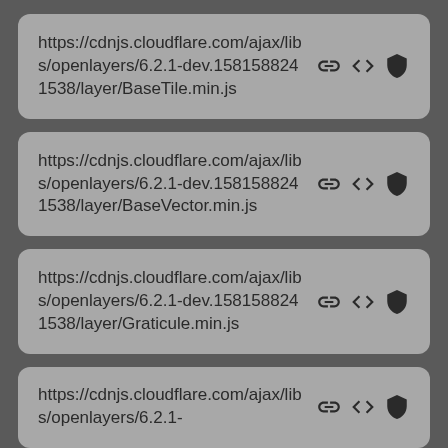https://cdnjs.cloudflare.com/ajax/libs/openlayers/6.2.1-dev.1581588241538/layer/BaseTile.min.js
https://cdnjs.cloudflare.com/ajax/libs/openlayers/6.2.1-dev.1581588241538/layer/BaseVector.min.js
https://cdnjs.cloudflare.com/ajax/libs/openlayers/6.2.1-dev.1581588241538/layer/Graticule.min.js
https://cdnjs.cloudflare.com/ajax/libs/openlayers/6.2.1-